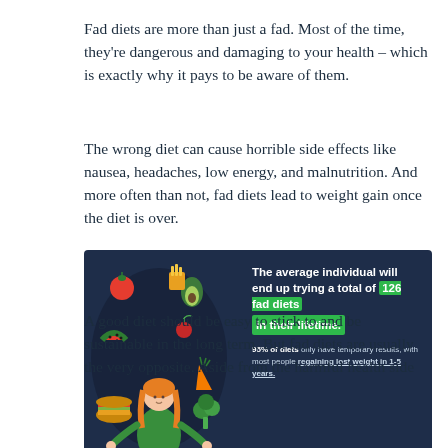Fad diets are more than just a fad. Most of the time, they're dangerous and damaging to your health – which is exactly why it pays to be aware of them.
The wrong diet can cause horrible side effects like nausea, headaches, low energy, and malnutrition. And more often than not, fad diets lead to weight gain once the diet is over.
[Figure (infographic): Infographic with dark navy background. Left side shows an oval with illustrated food items (tomato, avocado, fries, watermelon, burger, carrots, broccoli) and a cartoon woman in green with arms outstretched. Right side text reads: 'The average individual will end up trying a total of 126 fad diets in their lifetime.' with '126 fad diets' and 'in their lifetime.' highlighted in green. Below: '95% of diets only have temporary results, with most people regaining lost weight in 1-5 years.' Source: abecsw.org. Logo: DeliveryRank.]
A good diet should be easy to stick to and be sustainable in the long term. But fad diets are usually the very opposite. Aside from the harmful health side